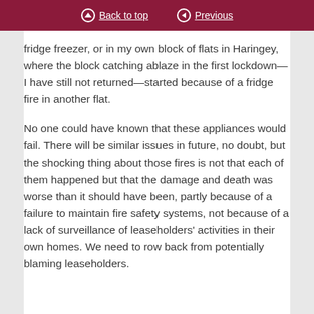Back to top | Previous
fridge freezer, or in my own block of flats in Haringey, where the block catching ablaze in the first lockdown—I have still not returned—started because of a fridge fire in another flat.
No one could have known that these appliances would fail. There will be similar issues in future, no doubt, but the shocking thing about those fires is not that each of them happened but that the damage and death was worse than it should have been, partly because of a failure to maintain fire safety systems, not because of a lack of surveillance of leaseholders' activities in their own homes. We need to row back from potentially blaming leaseholders.